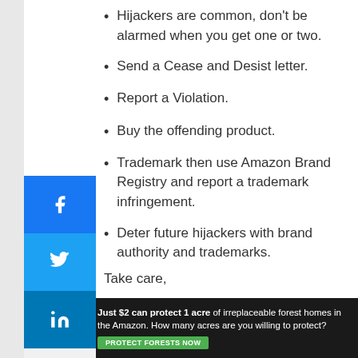Hijackers are common, don't be alarmed when you get one or two.
Send a Cease and Desist letter.
Report a Violation.
Buy the offending product.
Trademark then use Amazon Brand Registry and report a trademark infringement.
Deter future hijackers with brand authority and trademarks.
Take care,
[Figure (illustration): Handwritten cursive signature starting with 'D']
[Figure (photo): Advertisement banner: forest/nature background with text 'Just $2 can protect 1 acre of irreplaceable forest homes in the Amazon. How many acres are you willing to protect?' and a green button 'PROTECT FORESTS NOW']